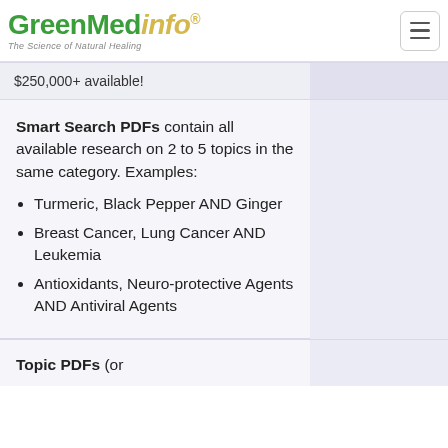GreenMedinfo® The Science of Natural Healing
$250,000+ available!
Smart Search PDFs contain all available research on 2 to 5 topics in the same category. Examples:
Turmeric, Black Pepper AND Ginger
Breast Cancer, Lung Cancer AND Leukemia
Antioxidants, Neuro-protective Agents AND Antiviral Agents
Topic PDFs (or